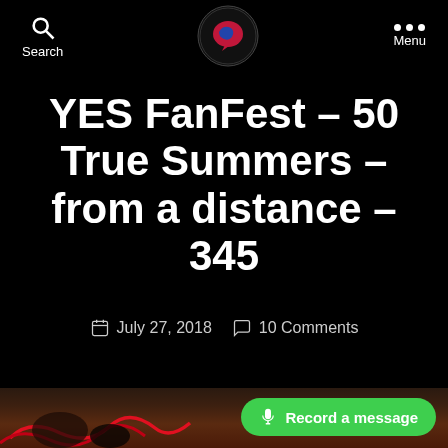Search | [Logo] | Menu
YES FanFest – 50 True Summers – from a distance – 345
July 27, 2018   10 Comments
[Figure (screenshot): Dark brownish photo of a concert venue scene at the bottom of the page]
Record a message